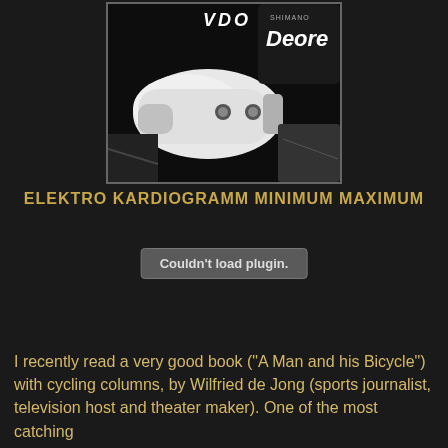[Figure (photo): Close-up photo of bicycle components including a white handlebar grip or device with VDO branding and Shimano Deore components visible in the background on a dark background.]
ELEKTRO KARDIOGRAMM MINIMUM MAXIMUM
Couldn't load plugin.
I recently read a very good book ("A Man and his Bicycle") with cycling columns, by Wilfried de Jong (sports journalist, television host and theater maker). One of the most catching